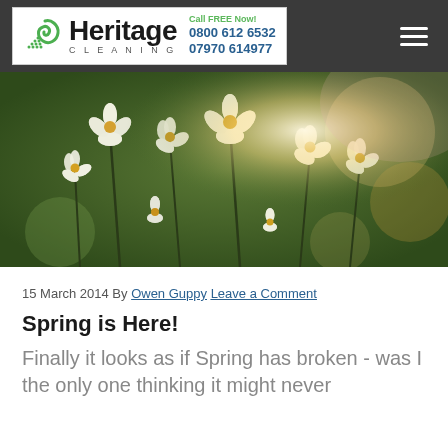Heritage Cleaning | Call FREE Now! 0800 612 6532 | 07970 614977
[Figure (photo): Close-up photograph of white spring flowers with bokeh background, sunlight glowing through petals]
15 March 2014 By Owen Guppy Leave a Comment
Spring is Here!
Finally it looks as if Spring has broken - was I the only one thinking it might never